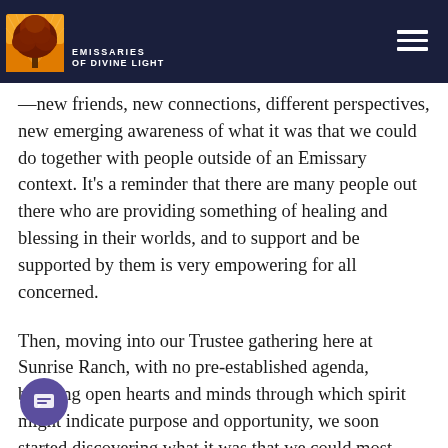Emissaries of Divine Light
—new friends, new connections, different perspectives, new emerging awareness of what it was that we could do together with people outside of an Emissary context. It's a reminder that there are many people out there who are providing something of healing and blessing in their worlds, and to support and be supported by them is very empowering for all concerned.
Then, moving into our Trustee gathering here at Sunrise Ranch, with no pre-established agenda, bringing open hearts and minds through which spirit might indicate purpose and opportunity, we soon started discovering what it was that we could most usefully be considering and